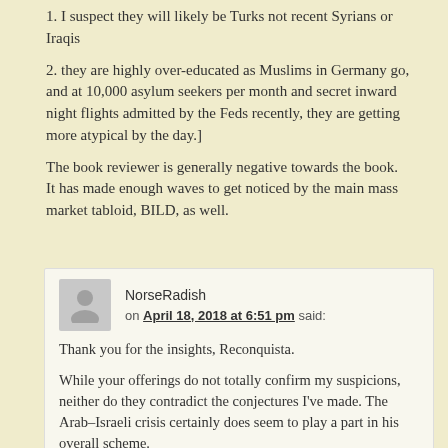1. I suspect they will likely be Turks not recent Syrians or Iraqis
2. they are highly over-educated as Muslims in Germany go, and at 10,000 asylum seekers per month and secret inward night flights admitted by the Feds recently, they are getting more atypical by the day.]
The book reviewer is generally negative towards the book.
It has made enough waves to get noticed by the main mass market tabloid, BILD, as well.
NorseRadish
on April 18, 2018 at 6:51 pm said:
Thank you for the insights, Reconquista.
While your offerings do not totally confirm my suspicions, neither do they contradict the conjectures I've made. The Arab–Israeli crisis certainly does seem to play a part in his overall scheme.